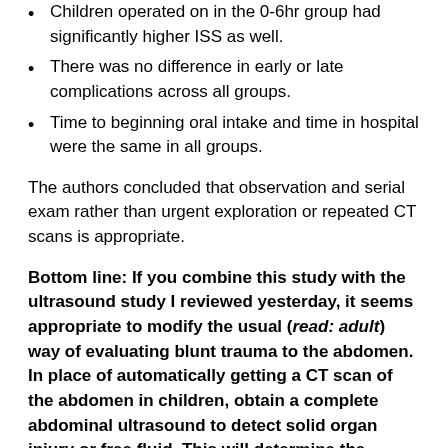Children operated on in the 0-6hr group had significantly higher ISS as well.
There was no difference in early or late complications across all groups.
Time to beginning oral intake and time in hospital were the same in all groups.
The authors concluded that observation and serial exam rather than urgent exploration or repeated CT scans is appropriate.
Bottom line: If you combine this study with the ultrasound study I reviewed yesterday, it seems appropriate to modify the usual (read: adult) way of evaluating blunt trauma to the abdomen. In place of automatically getting a CT scan of the abdomen in children, obtain a complete abdominal ultrasound to detect solid organ injury or free fluid. This will determine the degree of monitoring needed (e.g. ICU for